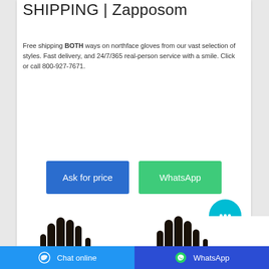SHIPPING | Zapposom
Free shipping BOTH ways on northface gloves from our vast selection of styles. Fast delivery, and 24/7/365 real-person service with a smile. Click or call 800-927-7671.
[Figure (other): Two blue and green buttons labeled 'Ask for price' and 'WhatsApp']
[Figure (other): Cyan circular chat bubble button with ellipsis icon]
[Figure (photo): Two groups of dark/black north face gloves shown from the fingers up at the bottom of the page]
Chat online    WhatsApp